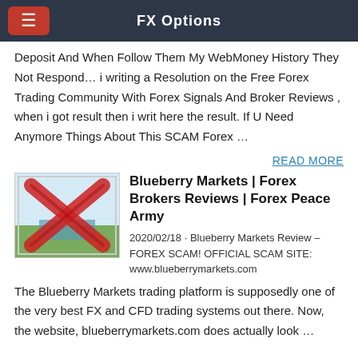FX Options
Deposit And When Follow Them My WebMoney History They Not Respond… i writing a Resolution on the Free Forex Trading Community With Forex Signals And Broker Reviews , when i got result then i writ here the result. If U Need Anymore Things About This SCAM Forex …
READ MORE
Blueberry Markets | Forex Brokers Reviews | Forex Peace Army
2020/02/18 · Blueberry Markets Review – FOREX SCAM! OFFICIAL SCAM SITE: www.blueberrymarkets.com The Blueberry Markets trading platform is supposedly one of the very best FX and CFD trading systems out there. Now, the website, blueberrymarkets.com does actually look …